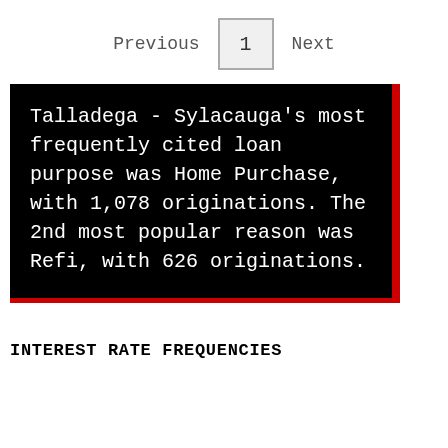Previous  1  Next
Talladega - Sylacauga's most frequently cited loan purpose was Home Purchase, with 1,078 originations. The 2nd most popular reason was Refi, with 626 originations.
INTEREST RATE FREQUENCIES